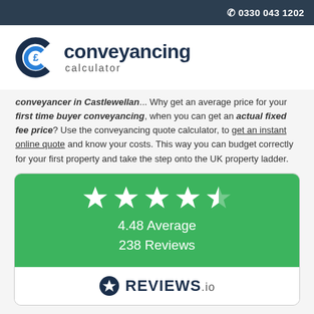0330 043 1202
[Figure (logo): Conveyancing Calculator logo with stylized C and pound sign]
conveyancer in Castlewellan... Why get an average price for your first time buyer conveyancing, when you can get an actual fixed fee price? Use the conveyancing quote calculator, to get an instant online quote and know your costs. This way you can budget correctly for your first property and take the step onto the UK property ladder.
[Figure (infographic): 4.48 Average 238 Reviews rating box with 5 stars (4 full, 1 half) on green background, Reviews.io logo below]
4.48 Average 238 Reviews